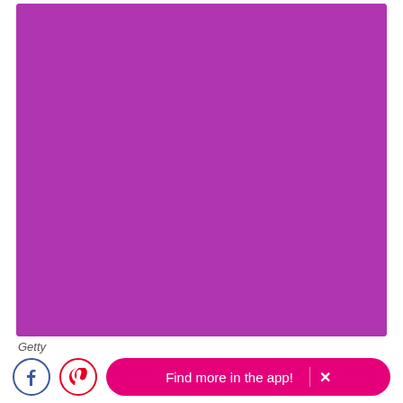[Figure (photo): A repeating grid pattern of green/yellow-green grapes (pairs of round olives/grapes) photographed against a bright purple/magenta background. The grapes are arranged in approximately 9 columns and 10 rows filling the entire image area.]
Getty
Find more in the app! ×